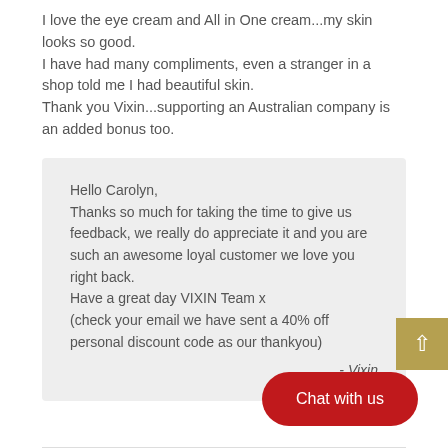I love the eye cream and All in One cream...my skin looks so good.
I have had many compliments, even a stranger in a shop told me I had beautiful skin.
Thank you Vixin...supporting an Australian company is an added bonus too.
Hello Carolyn,
Thanks so much for taking the time to give us feedback, we really do appreciate it and you are such an awesome loyal customer we love you right back.
Have a great day VIXIN Team x
(check your email we have sent a 40% off personal discount code as our thankyou)
- Vixin